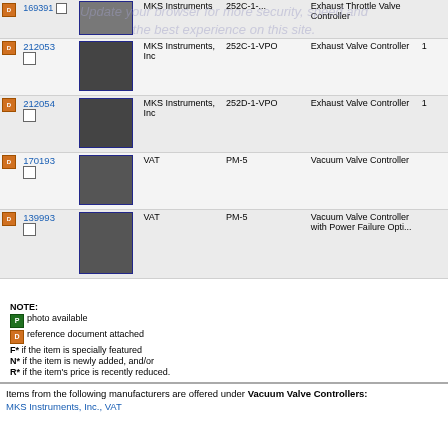|  | ID | Image | Manufacturer | Model | Description | Qty |
| --- | --- | --- | --- | --- | --- | --- |
| [icon] | 169391 | [img] | MKS Instruments | 252C-1-... | Exhaust Throttle Valve Controller |  |
| [icon] | 212053 | [img] | MKS Instruments, Inc | 252C-1-VPO | Exhaust Valve Controller | 1 |
| [icon] | 212054 | [img] | MKS Instruments, Inc | 252D-1-VPO | Exhaust Valve Controller | 1 |
| [icon] | 170193 | [img] | VAT | PM-5 | Vacuum Valve Controller |  |
| [icon] | 139993 | [img] | VAT | PM-5 | Vacuum Valve Controller with Power Failure Opti... |  |
NOTE:
[green icon] photo available
[orange icon] reference document attached
F* if the item is specially featured
N* if the item is newly added, and/or
R* if the item's price is recently reduced.
Items from the following manufacturers are offered under Vacuum Valve Controllers:
MKS Instruments, Inc., VAT